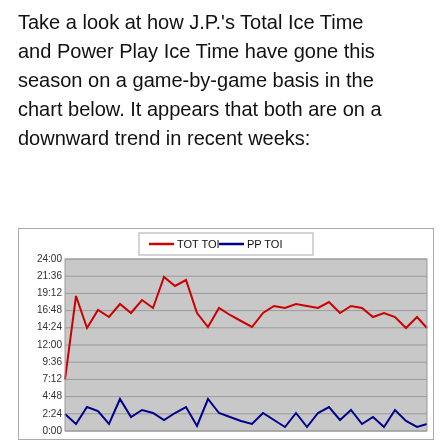Take a look at how J.P.'s Total Ice Time and Power Play Ice Time have gone this season on a game-by-game basis in the chart below. It appears that both are on a downward trend in recent weeks:
[Figure (continuous-plot): Line chart showing J.P.'s Total Ice Time (TOT TOI, red line) and Power Play Ice Time (PP TOI, dark blue/navy line) on a game-by-game basis. The y-axis shows time values from 0:00 to 24:00 in increments (0:00, 2:24, 4:48, 7:12, 9:36, 12:00, 14:24, 16:48, 19:12, 21:36, 24:00). The red TOT TOI line fluctuates mostly between 14:24 and 19:12, with a peak around 21:36, and shows a downward trend in recent games. The blue PP TOI line stays mostly between 0:00 and 4:48, fluctuating erratically. Background is gray with horizontal gridlines.]